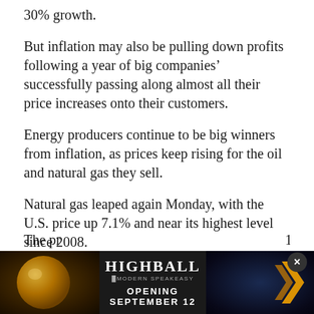30% growth.
But inflation may also be pulling down profits following a year of big companies’ successfully passing along almost all their price increases onto their customers.
Energy producers continue to be big winners from inflation, as prices keep rising for the oil and natural gas they sell.
Natural gas leaped again Monday, with the U.S. price up 7.1% and near its highest level since 2008.
The war in Ukraine is pushing up demand for U.S. gas as European customers try to turn away from Russian supplies.
The pr... 1.2%
[Figure (other): Advertisement overlay for Highball Modern Speakeasy, opening September 12, with dark background, gold orb imagery, and arrow logo]